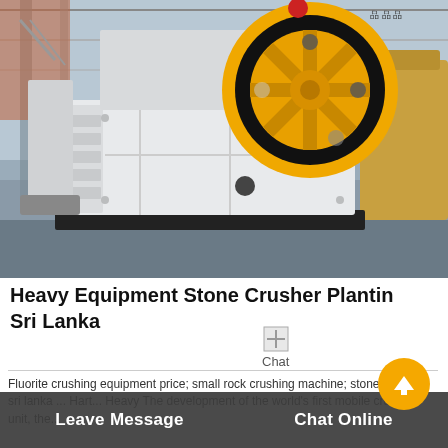[Figure (photo): Photograph of a large white industrial jaw crusher / stone crusher machine with a prominent yellow and black flywheel, photographed in a factory or industrial setting. A yellow machine is partially visible in the background.]
Heavy Equipment Stone Crusher Plantin Sri Lanka
[Figure (other): Small broken/placeholder image icon representing a chat icon]
Chat
Fluorite crushing equipment price; small rock crushing machine; stone crusher sri lanka ... Hart... Heavy The development of the world's first mobile crusher unit, the...
Leave Message   Chat Online